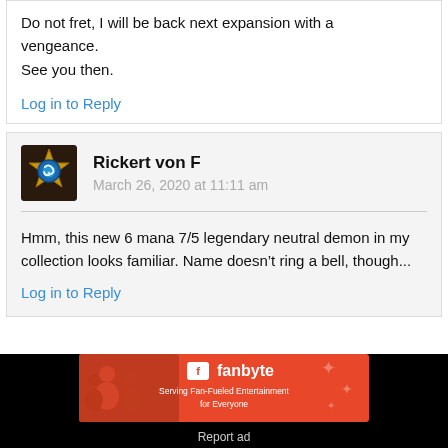Do not fret, I will be back next expansion with a vengeance.
See you then.
Log in to Reply
Rickert von F
March 26, 2020 at 11:11 am
Hmm, this new 6 mana 7/5 legendary neutral demon in my collection looks familiar. Name doesn’t ring a bell, though...
Log in to Reply
[Figure (other): Fanbyte advertisement banner: orange/red background with people and fanbyte logo. Text: Serving Fan-Fueled Entertainment for Everyone]
Report ad